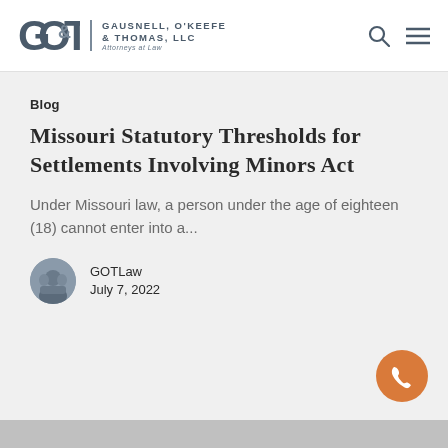GAUSNELL, O'KEEFE & THOMAS, LLC — Attorneys at Law
Blog
Missouri Statutory Thresholds for Settlements Involving Minors Act
Under Missouri law, a person under the age of eighteen (18) cannot enter into a...
GOTLaw
July 7, 2022